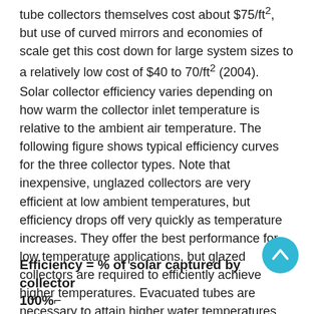tube collectors themselves cost about $75/ft², but use of curved mirrors and economies of scale get this cost down for large system sizes to a relatively low cost of $40 to 70/ft² (2004).
Solar collector efficiency varies depending on how warm the collector inlet temperature is relative to the ambient air temperature. The following figure shows typical efficiency curves for the three collector types. Note that inexpensive, unglazed collectors are very efficient at low ambient temperatures, but efficiency drops off very quickly as temperature increases. They offer the best performance for low temperature applications, but glazed collectors are required to efficiently achieve higher temperatures. Evacuated tubes are necessary to attain higher water temperatures, as needed in cooling and some industrial process heat applications.
Efficiency = % of solar captured by collector
100%⌐